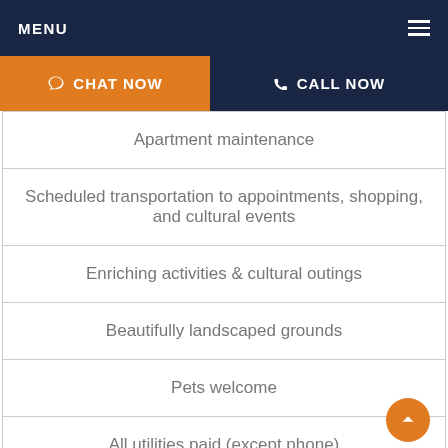MENU
Apartment maintenance
Scheduled transportation to appointments, shopping, and cultural events
Enriching activities & cultural outings
Beautifully landscaped grounds
Pets welcome
All utilities paid (except phone)